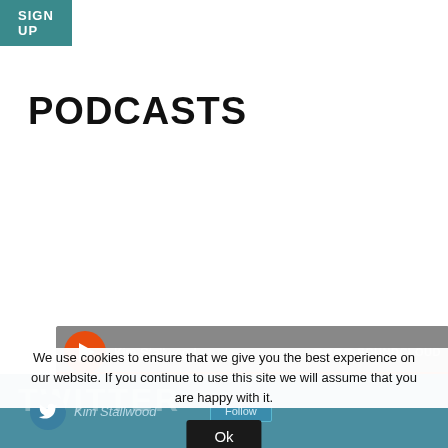[Figure (screenshot): Sign Up button - teal/dark cyan rectangle with white bold text 'SIGN UP']
PODCASTS
[Figure (screenshot): SoundCloud embedded audio player widget showing Kim Stallwood, with orange play button, 'Play on SoundCloud' orange bar, waveform display, '8:30' time, 'Listen in browser' tooltip, and Privacy policy link]
[Figure (screenshot): Twitter section with teal background showing 'TWITTER' watermark text, Twitter avatar circle with bird icon, 'Kim Stallwood' name, and Follow button]
We use cookies to ensure that we give you the best experience on our website. If you continue to use this site we will assume that you are happy with it.
[Figure (screenshot): Cookie consent Ok button - dark rectangle with white text 'Ok']